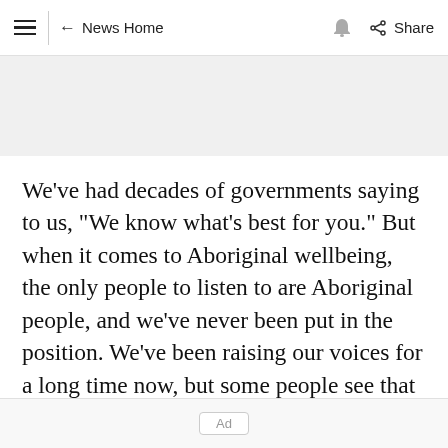≡ | ← News Home 🔔 Share
We've had decades of governments saying to us, "We know what's best for you." But when it comes to Aboriginal wellbeing, the only people to listen to are Aboriginal people, and we've never been put in the position. We've been raising our voices for a long time now, but some people see that as a threat and are not prepared to listen.